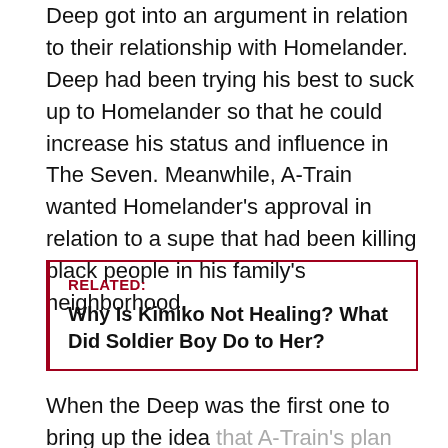Deep got into an argument in relation to their relationship with Homelander. Deep had been trying his best to suck up to Homelander so that he could increase his status and influence in The Seven. Meanwhile, A-Train wanted Homelander's approval in relation to a supe that had been killing black people in his family's neighborhood.
RELATED: Why Is Kimiko Not Healing? What Did Soldier Boy Do to Her?
When the Deep was the first one to bring up the idea that A-Train's plan was bad, the two supes had an